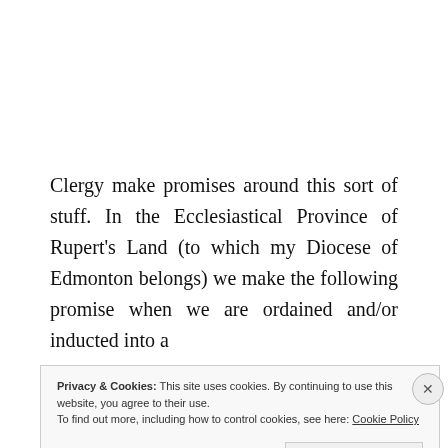Clergy make promises around this sort of stuff. In the Ecclesiastical Province of Rupert's Land (to which my Diocese of Edmonton belongs) we make the following promise when we are ordained and/or inducted into a
Privacy & Cookies: This site uses cookies. By continuing to use this website, you agree to their use.
To find out more, including how to control cookies, see here: Cookie Policy
[Close and accept]